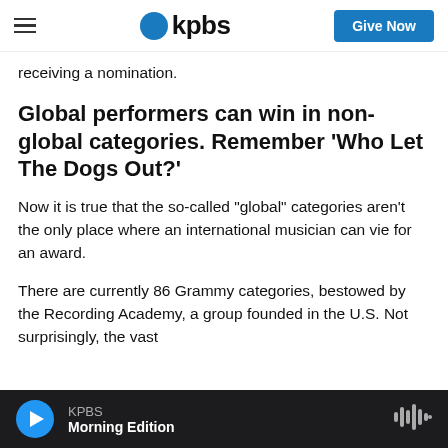kpbs | Give Now
receiving a nomination.
Global performers can win in non-global categories. Remember 'Who Let The Dogs Out?'
Now it is true that the so-called "global" categories aren't the only place where an international musician can vie for an award.
There are currently 86 Grammy categories, bestowed by the Recording Academy, a group founded in the U.S. Not surprisingly, the vast
KPBS Morning Edition